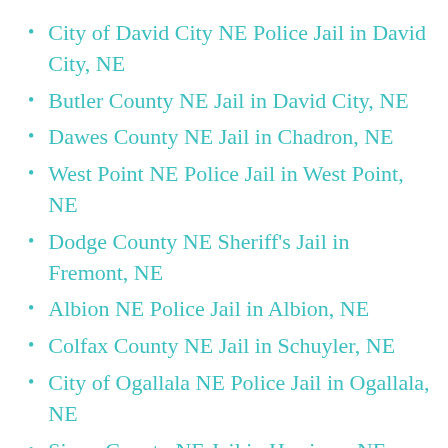City of David City NE Police Jail in David City, NE
Butler County NE Jail in David City, NE
Dawes County NE Jail in Chadron, NE
West Point NE Police Jail in West Point, NE
Dodge County NE Sheriff's Jail in Fremont, NE
Albion NE Police Jail in Albion, NE
Colfax County NE Jail in Schuyler, NE
City of Ogallala NE Police Jail in Ogallala, NE
Sioux County NE Jail in Harrison, NE
Osmond NE Police Jail in Osmond, NE
Gothenburg NE Police Jail in Gothenburg, NE